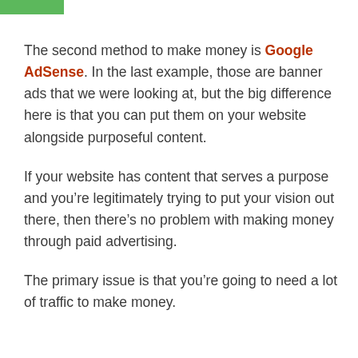The second method to make money is Google AdSense. In the last example, those are banner ads that we were looking at, but the big difference here is that you can put them on your website alongside purposeful content.
If your website has content that serves a purpose and you’re legitimately trying to put your vision out there, then there’s no problem with making money through paid advertising.
The primary issue is that you’re going to need a lot of traffic to make money.